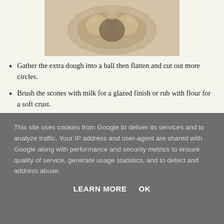[Figure (photo): Photo of raw scone dough arranged in a ring/circle shape with holes pressed into it, dusted with flour, on a baking surface]
Gather the extra dough into a ball then flatten and cut out more circles.
Brush the scones with milk for a glazed finish or rub with flour for a soft crust.
[Figure (photo): Photo of hands cutting or shaping scone dough on a surface]
This site uses cookies from Google to deliver its services and to analyze traffic. Your IP address and user-agent are shared with Google along with performance and security metrics to ensure quality of service, generate usage statistics, and to detect and address abuse.
LEARN MORE   OK